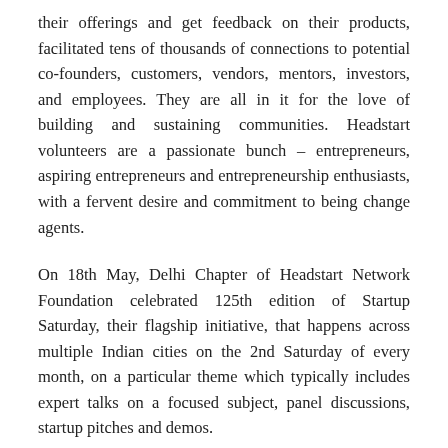their offerings and get feedback on their products, facilitated tens of thousands of connections to potential co-founders, customers, vendors, mentors, investors, and employees. They are all in it for the love of building and sustaining communities. Headstart volunteers are a passionate bunch – entrepreneurs, aspiring entrepreneurs and entrepreneurship enthusiasts, with a fervent desire and commitment to being change agents.
On 18th May, Delhi Chapter of Headstart Network Foundation celebrated 125th edition of Startup Saturday, their flagship initiative, that happens across multiple Indian cities on the 2nd Saturday of every month, on a particular theme which typically includes expert talks on a focused subject, panel discussions, startup pitches and demos.
While Delhi Chapter has been in existence for more than a decade, now fostering entrepreneurship, but there are...